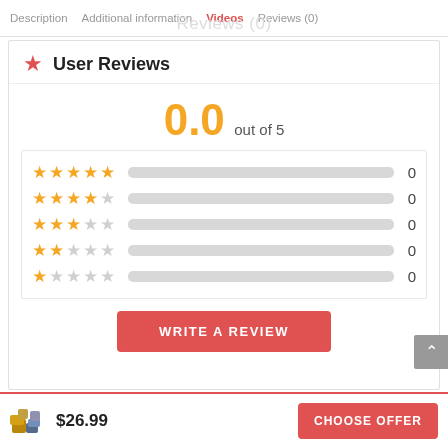Description  Additional information  Videos  Reviews (0)  Reviews (0)
User Reviews
0.0 out of 5
| Stars | Bar | Count |
| --- | --- | --- |
| ★★★★★ |  | 0 |
| ★★★★☆ |  | 0 |
| ★★★☆☆ |  | 0 |
| ★★☆☆☆ |  | 0 |
| ★☆☆☆☆ |  | 0 |
WRITE A REVIEW
$26.99  CHOOSE OFFER